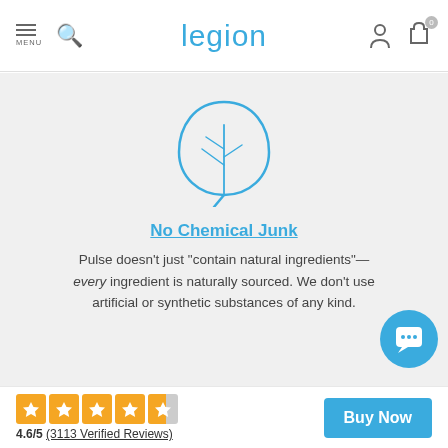legion
[Figure (illustration): Blue outline of a leaf icon with stem and veins]
No Chemical Junk
Pulse doesn't just "contain natural ingredients"—every ingredient is naturally sourced. We don't use artificial or synthetic substances of any kind.
4.6/5 (3113 Verified Reviews)